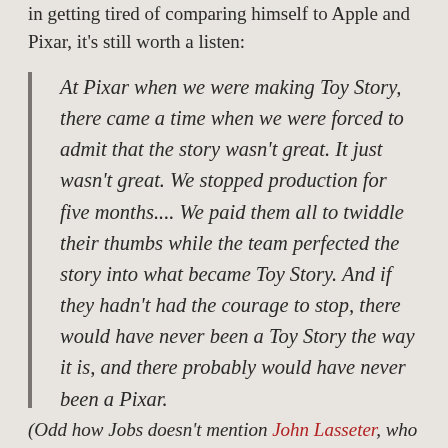in getting tired of comparing himself to Apple and Pixar, it's still worth a listen:
At Pixar when we were making Toy Story, there came a time when we were forced to admit that the story wasn't great. It just wasn't great. We stopped production for five months.... We paid them all to twiddle their thumbs while the team perfected the story into what became Toy Story. And if they hadn't had the courage to stop, there would have never been a Toy Story the way it is, and there probably would have never been a Pixar.
(Odd how Jobs doesn't mention John Lasseter, who